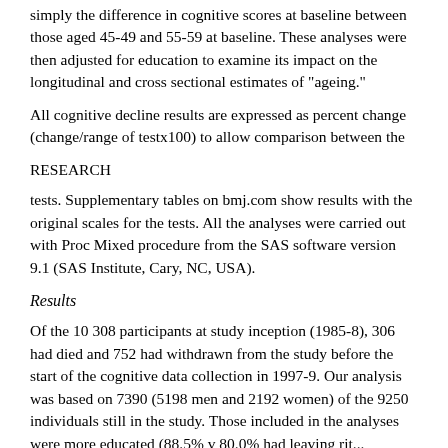simply the difference in cognitive scores at baseline between those aged 45-49 and 55-59 at baseline. These analyses were then adjusted for education to examine its impact on the longitudinal and cross sectional estimates of "ageing."
All cognitive decline results are expressed as percent change (change/range of testx100) to allow comparison between the
RESEARCH
tests. Supplementary tables on bmj.com show results with the original scales for the tests. All the analyses were carried out with Proc Mixed procedure from the SAS software version 9.1 (SAS Institute, Cary, NC, USA).
Results
Of the 10 308 participants at study inception (1985-8), 306 had died and 752 had withdrawn from the study before the start of the cognitive data collection in 1997-9. Our analysis was based on 7390 (5198 men and 2192 women) of the 9250 individuals still in the study. Those included in the analyses were more educated (88.5% v 80.0% had leaving rit...